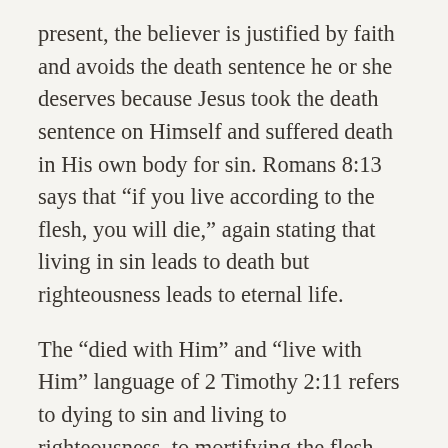present, the believer is justified by faith and avoids the death sentence he or she deserves because Jesus took the death sentence on Himself and suffered death in His own body for sin. Romans 8:13 says that “if you live according to the flesh, you will die,” again stating that living in sin leads to death but righteousness leads to eternal life.
The “died with Him” and “live with Him” language of 2 Timothy 2:11 refers to dying to sin and living to righteousness, to mortifying the flesh and quickening the spirit through our union to Christ by faith. So, as we can see here, Paul is talking about believers, not unbelievers. I state this point because, when we get to the end of verse 13, some will quickly